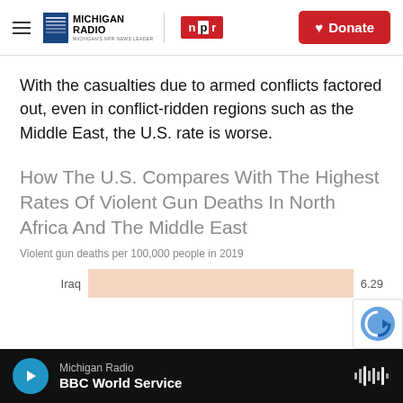Michigan Radio | NPR | Donate
With the casualties due to armed conflicts factored out, even in conflict-ridden regions such as the Middle East, the U.S. rate is worse.
How The U.S. Compares With The Highest Rates Of Violent Gun Deaths In North Africa And The Middle East
Violent gun deaths per 100,000 people in 2019
[Figure (bar-chart): How The U.S. Compares With The Highest Rates Of Violent Gun Deaths In North Africa And The Middle East]
Michigan Radio | BBC World Service